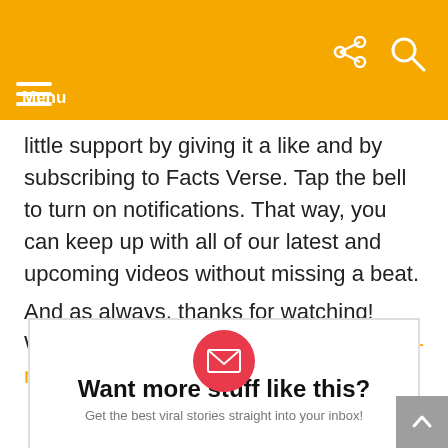Menu
little support by giving it a like and by subscribing to Facts Verse. Tap the bell to turn on notifications. That way, you can keep up with all of our latest and upcoming videos without missing a beat.
And as always, thanks for watching! We'll see you soon with more Hollywood-related news, stories, and scandals.
Want more stuff like this?